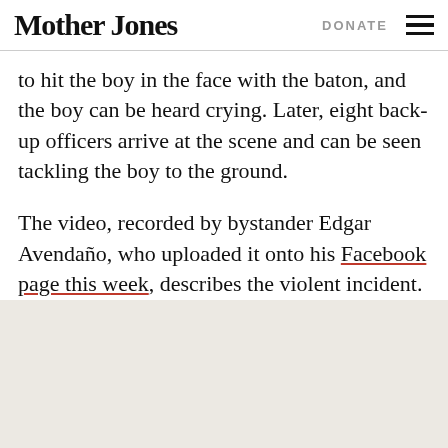Mother Jones | DONATE
to hit the boy in the face with the baton, and the boy can be heard crying. Later, eight back-up officers arrive at the scene and can be seen tackling the boy to the ground.
The video, recorded by bystander Edgar Avendaño, who uploaded it onto his Facebook page this week, describes the violent incident. Here's an accompanying note from Avendaño's Facebook page.